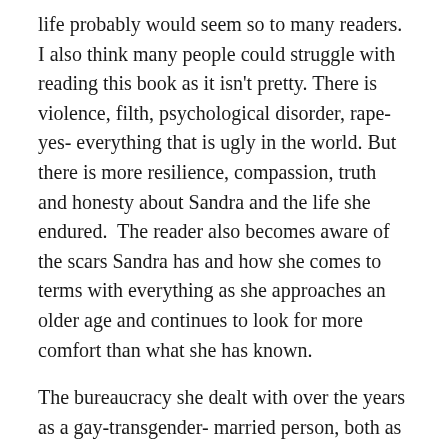life probably would seem so to many readers. I also think many people could struggle with reading this book as it isn't pretty. There is violence, filth, psychological disorder, rape- yes- everything that is ugly in the world. But there is more resilience, compassion, truth and honesty about Sandra and the life she endured.  The reader also becomes aware of the scars Sandra has and how she comes to terms with everything as she approaches an older age and continues to look for more comfort than what she has known.
The bureaucracy she dealt with over the years as a gay-transgender- married person, both as a man then as a woman highlights even more why all Australians need equal rights under the law no matter who they are.  As usual there is quite a lot of very inept bureaucracy in this country regarding the rights of children, marriage, lifestyle